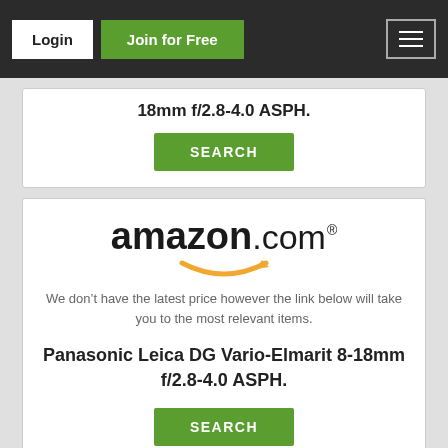Login | Join for Free
18mm f/2.8-4.0 ASPH.
SEARCH
[Figure (logo): amazon.com logo with orange smile arrow]
We don't have the latest price however the link below will take you to the most relevant items.
Panasonic Leica DG Vario-Elmarit 8-18mm f/2.8-4.0 ASPH.
SEARCH
[Figure (logo): MPB dot grid logo with www.mpb.com text]